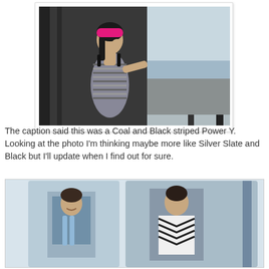[Figure (photo): Woman wearing a bright pink/magenta headband and grey striped athletic tank top, looking out a large window at what appears to be a waterfront or industrial area.]
The caption said this was a Coal and Black striped Power Y. Looking at the photo I'm thinking maybe more like Silver Slate and Black but I'll update when I find out for sure.
[Figure (photo): Two side-by-side photos of women in athletic wear at what appears to be a fitness event or photo shoot.]